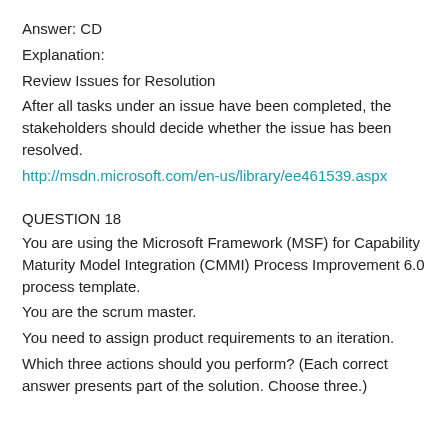Answer: CD
Explanation:
Review Issues for Resolution
After all tasks under an issue have been completed, the stakeholders should decide whether the issue has been resolved.
http://msdn.microsoft.com/en-us/library/ee461539.aspx
QUESTION 18
You are using the Microsoft Framework (MSF) for Capability Maturity Model Integration (CMMI) Process Improvement 6.0 process template.
You are the scrum master.
You need to assign product requirements to an iteration.
Which three actions should you perform? (Each correct answer presents part of the solution. Choose three.)